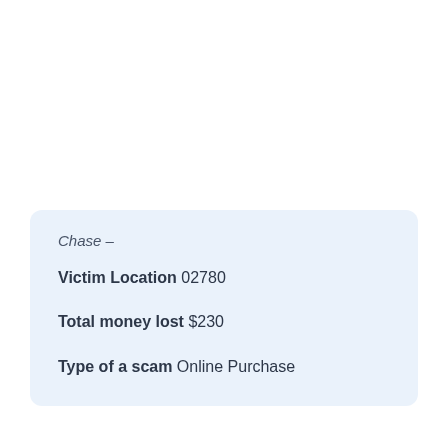Chase –
Victim Location 02780
Total money lost $230
Type of a scam Online Purchase